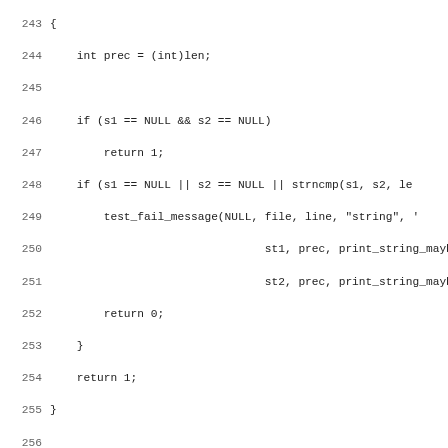[Figure (other): Source code listing in C, lines 243-275, showing functions test_strn_ne and related code with line numbers on the left.]